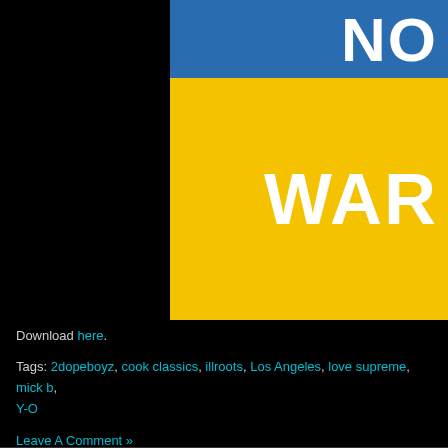[Figure (illustration): Partial view of a blue and yellow flag (Ukrainian flag colors) with large white bold text 'NO' on the blue band and 'WAR' on the yellow band, cropped on the right side.]
Download here.
Tags: 2dopeboyz, cook classics, illroots, Los Angeles, love supreme, mick b, Y-O
Leave A Comment »